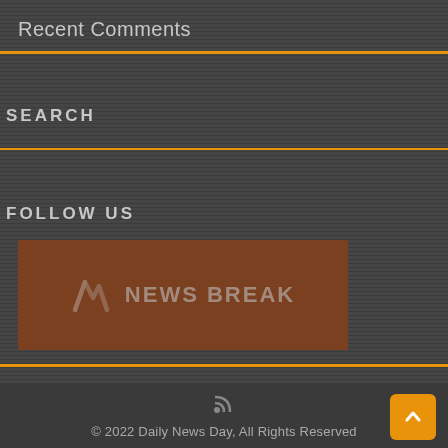Recent Comments
SEARCH
FOLLOW US
[Figure (logo): News Break logo — brown/rust colored rectangle with stylized N icon and 'NEWS BREAK' text in light gray]
© 2022 Daily News Day, All Rights Reserved